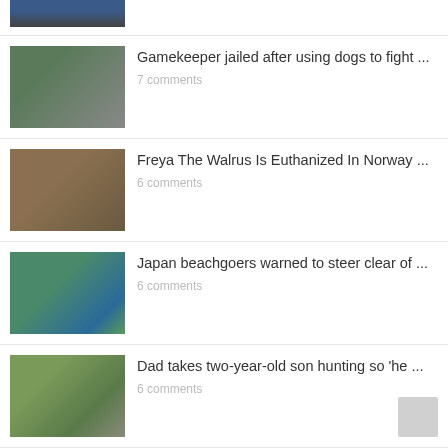[Figure (photo): Partial image of a person outdoors, top of page]
[Figure (photo): Photo of people with a dog, related to gamekeeper story]
Gamekeeper jailed after using dogs to fight ...
7 comments
[Figure (photo): Photo of a walrus lying down]
Freya The Walrus Is Euthanized In Norway ...
6 comments
[Figure (photo): Underwater photo of a shark or dolphin]
Japan beachgoers warned to steer clear of ...
6 comments
[Figure (photo): Photo of man in camouflage with child, hunting]
Dad takes two-year-old son hunting so 'he ...
6 comments